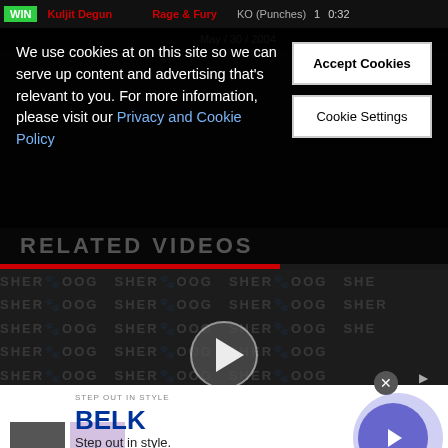| Result | Fighter | Event | Method | Round | Time |
| --- | --- | --- | --- | --- | --- |
| WIN | Kuljit Degun | Rage & Fury | KO (Punches) | 1 | 0:32 |
We use cookies at on this site so we can serve up content and advertising that's relevant to you. For more information, please visit our Privacy and Cookie Policy
Accept Cookies
Cookie Settings
RELATED VIDEOS
[Figure (screenshot): Sherdog watermark tiled background with play button overlay and search icon]
[Figure (screenshot): Belk advertisement banner: Step out in style. www.belk.com with two product images and navigation arrow]